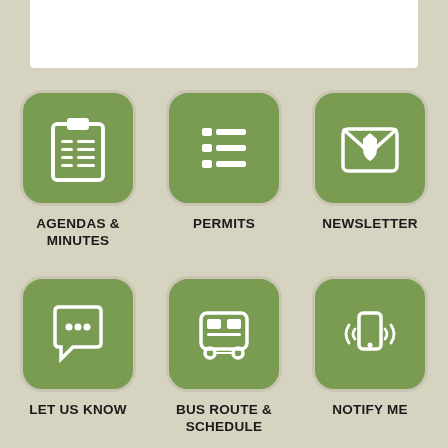[Figure (infographic): Six app-style icon buttons on a tan/beige background. Top row: Agendas & Minutes (clipboard with list icon), Permits (list icon), Newsletter (envelope icon). Bottom row: Let Us Know (speech bubble icon), Bus Route & Schedule (bus icon), Notify Me (mobile phone with signal icon).]
AGENDAS & MINUTES
PERMITS
NEWSLETTER
LET US KNOW
BUS ROUTE & SCHEDULE
NOTIFY ME